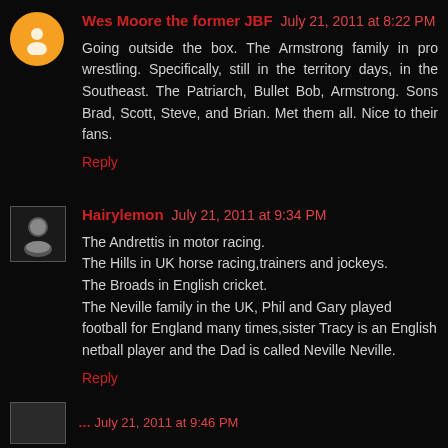Wes Moore the former JBF July 21, 2011 at 8:22 PM
Going outside the box. The Armstrong family in pro wrestling. Specifically, still in the territory days, in the Southeast. The Patriarch, Bullet Bob, Armstrong. Sons Brad, Scott, Steve, and Brian. Met them all. Nice to their fans.
Reply
Hairylemon July 21, 2011 at 9:34 PM
The Andrettis in motor racing.
The Hills in UK horse racing,trainers and jockeys.
The Broads in English cricket.
The Neville family in the UK, Phil and Gary played football for England many times,sister Tracy is an English netball player and the Dad is called Neville Neville.
Reply